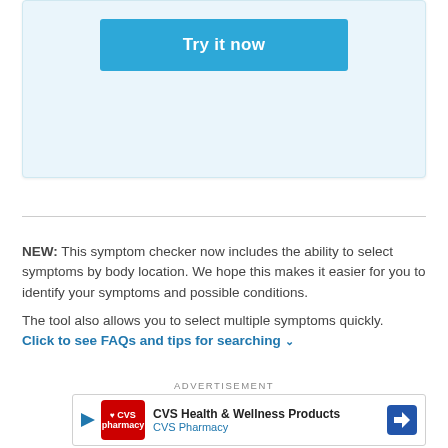[Figure (screenshot): Light blue card area with a 'Try it now' button in teal/blue]
NEW: This symptom checker now includes the ability to select symptoms by body location. We hope this makes it easier for you to identify your symptoms and possible conditions.

The tool also allows you to select multiple symptoms quickly.
Click to see FAQs and tips for searching
ADVERTISEMENT
[Figure (screenshot): CVS Health & Wellness Products advertisement banner with CVS Pharmacy logo and navigation arrow icon]